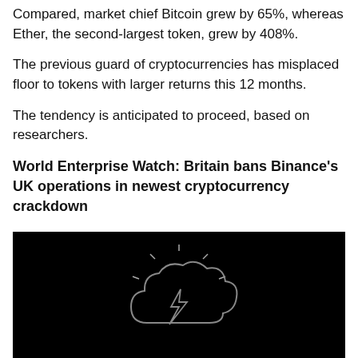Compared, market chief Bitcoin grew by 65%, whereas Ether, the second-largest token, grew by 408%.
The previous guard of cryptocurrencies has misplaced floor to tokens with larger returns this 12 months.
The tendency is anticipated to proceed, based on researchers.
World Enterprise Watch: Britain bans Binance's UK operations in newest cryptocurrency crackdown
[Figure (illustration): Dark background image with a glowing cloud icon containing a lightning bolt symbol, suggesting cryptocurrency/Binance related illustration]